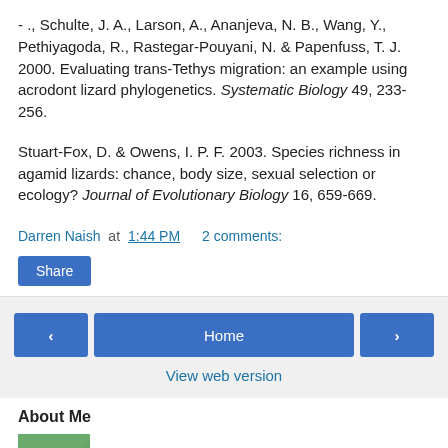- ., Schulte, J. A., Larson, A., Ananjeva, N. B., Wang, Y., Pethiyagoda, R., Rastegar-Pouyani, N. & Papenfuss, T. J. 2000. Evaluating trans-Tethys migration: an example using acrodont lizard phylogenetics. Systematic Biology 49, 233-256.
Stuart-Fox, D. & Owens, I. P. F. 2003. Species richness in agamid lizards: chance, body size, sexual selection or ecology? Journal of Evolutionary Biology 16, 659-669.
Darren Naish at 1:44 PM   2 comments:
Share
< Home > View web version
About Me
Darren Naish